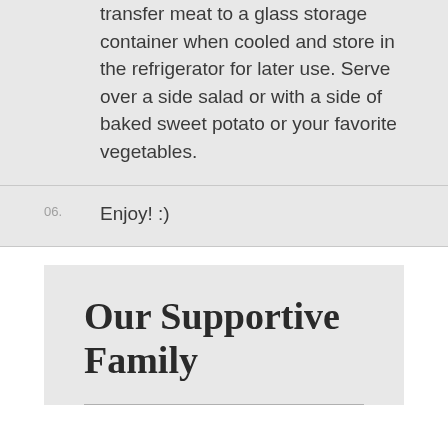transfer meat to a glass storage container when cooled and store in the refrigerator for later use. Serve over a side salad or with a side of baked sweet potato or your favorite vegetables.
06. Enjoy! :)
Our Supportive Family